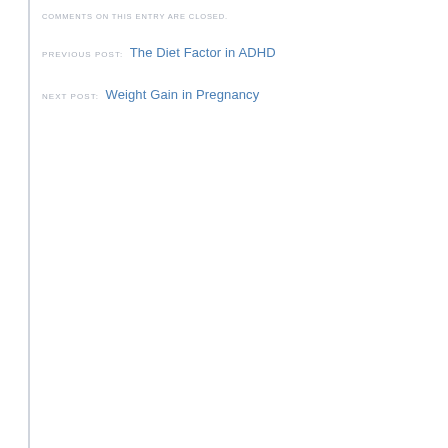COMMENTS ON THIS ENTRY ARE CLOSED.
PREVIOUS POST: The Diet Factor in ADHD
NEXT POST: Weight Gain in Pregnancy